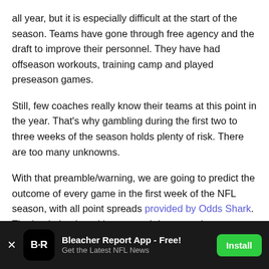all year, but it is especially difficult at the start of the season. Teams have gone through free agency and the draft to improve their personnel. They have had offseason workouts, training camp and played preseason games.
Still, few coaches really know their teams at this point in the year. That's why gambling during the first two to three weeks of the season holds plenty of risk. There are too many unknowns.
With that preamble/warning, we are going to predict the outcome of every game in the first week of the NFL season, with all point spreads provided by Odds Shark. The battle begins with a rematch between the two combatants in Super Bowl 50. The Carolina Panthers head
[Figure (other): Bleacher Report App advertisement banner with app icon (B/R logo), title 'Bleacher Report App - Free!', subtitle 'Get the Latest NFL News', and a green 'Install' button. Dark background with close (x) button.]